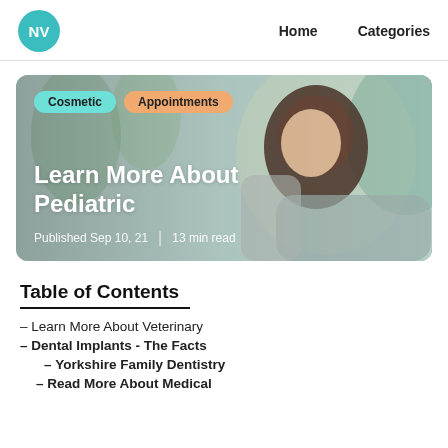NV  Home  Categories
[Figure (photo): Hero card with dental patient woman reclining in dental chair, smiling, with blurred background. Badges: Cosmetic, Appointments. Title: Learn More About Pediatric. Published Sep 10, 21 | 13 min read]
Table of Contents
– Learn More About Veterinary
– Dental Implants - The Facts
– Yorkshire Family Dentistry
– Read More About Medical